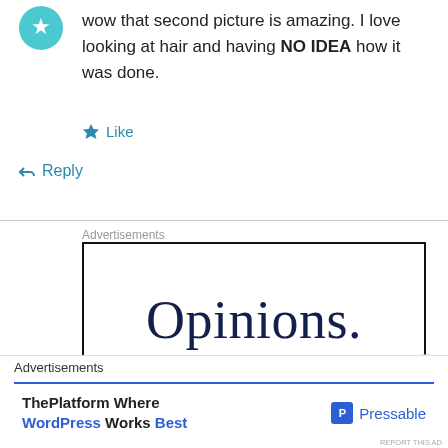[Figure (illustration): Teal/cyan avatar icon partially visible at top left]
wow that second picture is amazing. I love looking at hair and having NO IDEA how it was done.
★ Like
↳ Reply
Advertisements
[Figure (logo): Advertisement box with large serif text reading 'Opinions.' in dark navy color, black border]
[Figure (illustration): Close/X button circle icon]
Advertisements
[Figure (logo): Pressable advertisement: ThePlatform Where WordPress Works Best, with Pressable logo on right]